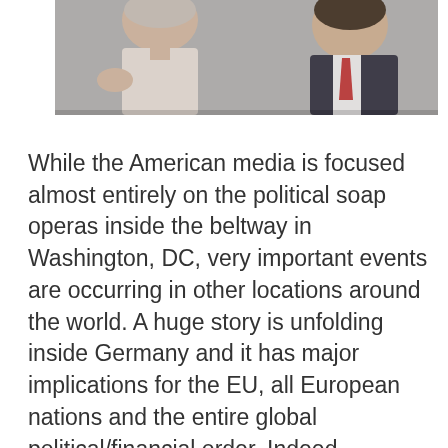[Figure (photo): Photo of two people — a woman in white on the left and a man in a dark suit with a red tie on the right, partially cropped at the top of the page.]
While the American media is focused almost entirely on the political soap operas inside the beltway in Washington, DC, very important events are occurring in other locations around the world. A huge story is unfolding inside Germany and it has major implications for the EU, all European nations and the entire global political/financial order. Indeed, the German government almost collapsed a few days ago, and it